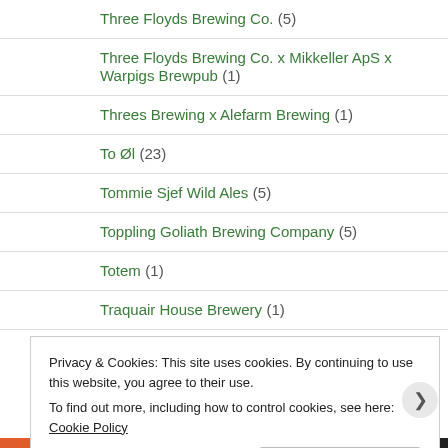Three Floyds Brewing Co. (5)
Three Floyds Brewing Co. x Mikkeller ApS x Warpigs Brewpub (1)
Threes Brewing x Alefarm Brewing (1)
To Øl (23)
Tommie Sjef Wild Ales (5)
Toppling Goliath Brewing Company (5)
Totem (1)
Traquair House Brewery (1)
Privacy & Cookies: This site uses cookies. By continuing to use this website, you agree to their use. To find out more, including how to control cookies, see here: Cookie Policy
Close and accept